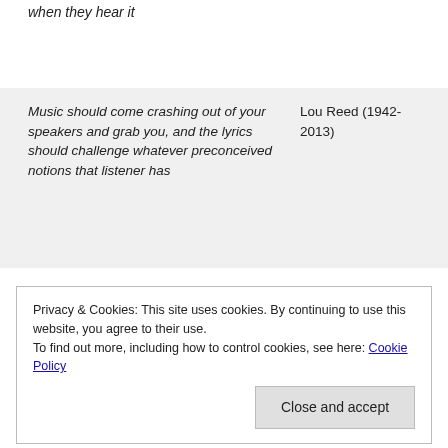when they hear it
| Quote | Author |
| --- | --- |
| Music should come crashing out of your speakers and grab you, and the lyrics should challenge whatever preconceived notions that listener has | Lou Reed (1942-2013) |
| My God is rock 'n' roll | Lou Reed (1942-2013) |
| My music, I hope, takes 100% of your concentration. I know how to do that | Trent Reznor (1965-) |
Privacy & Cookies: This site uses cookies. By continuing to use this website, you agree to their use. To find out more, including how to control cookies, see here: Cookie Policy